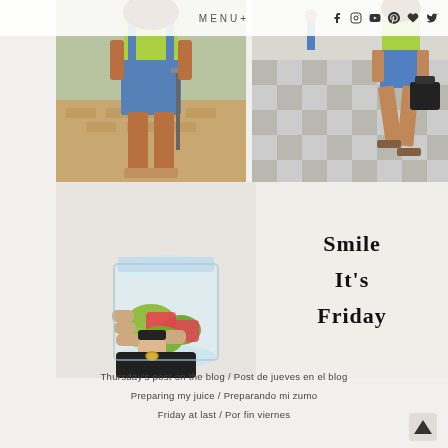MENU+
[Figure (photo): Person from behind wearing denim overalls/shorts and neon green top in outdoor park setting]
[Figure (photo): Person walking on checkered pavement wearing blue shorts and neon green top, carrying black bag]
[Figure (photo): Hand holding a glass jar filled with fruit salad including kiwi and watermelon]
Smile
It's
Friday
Thursday's post on the blog / Post de jueves en el blog
Preparing my juice / Preparando mi zumo
Friday at last / Por fin viernes